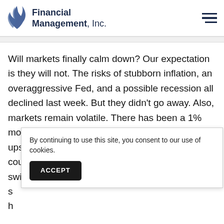Financial Management, Inc.
Will markets finally calm down? Our expectation is they will not. The risks of stubborn inflation, an overaggressive Fed, and a possible recession all declined last week. But they didn't go away. Also, markets remain volatile. There has been a 1% move every week this year, and big moves to the upside can reverse quickly. Upside volatility still counts as volatility and suggests investors can switch their sentiments q s h
By continuing to use this site, you consent to our use of cookies.
ACCEPT